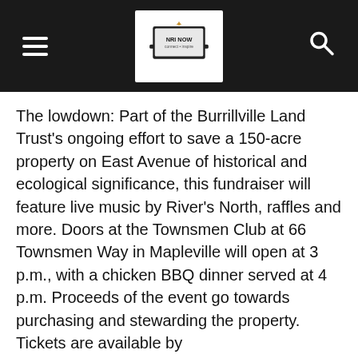NRI NOW logo with hamburger menu and search icon
The lowdown: Part of the Burrillville Land Trust's ongoing effort to save a 150-acre property on East Avenue of historical and ecological significance, this fundraiser will feature live music by River's North, raffles and more. Doors at the Townsmen Club at 66 Townsmen Way in Mapleville will open at 3 p.m., with a chicken BBQ dinner served at 4 p.m. Proceeds of the event go towards purchasing and stewarding the property. Tickets are available by
calling (401) 4471560 or sending an email to info@burrillvillelandtrust.org